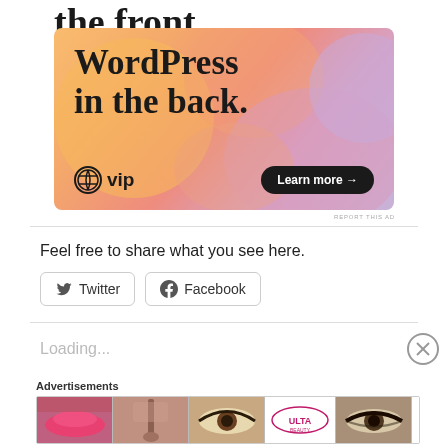[Figure (illustration): WordPress VIP advertisement banner with colorful gradient background (orange, pink, purple blobs). Text reads 'WordPress in the back.' with WordPress VIP logo and 'Learn more →' button.]
REPORT THIS AD
Feel free to share what you see here.
Twitter  Facebook
Loading...
Advertisements
[Figure (illustration): Ulta Beauty advertisement strip showing cosmetics imagery — lips with lipstick, makeup brush, eye with mascara, Ulta Beauty logo, eye with smoky makeup, and 'SHOP NOW' text.]